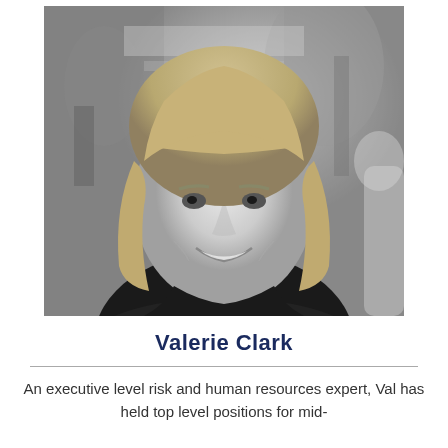[Figure (photo): Black and white portrait photograph of Valerie Clark, a woman with shoulder-length light hair and bangs, smiling, wearing a dark jacket, with an outdoor background.]
Valerie Clark
An executive level risk and human resources expert, Val has held top level positions for mid-